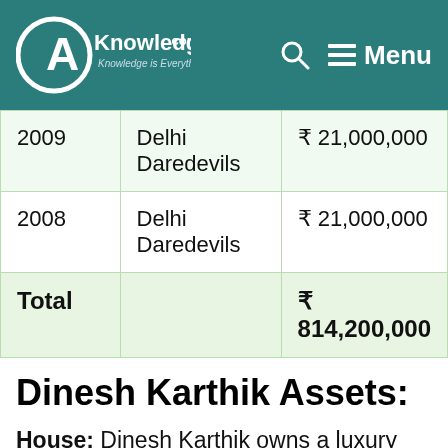AKnowledge.com — Knowledge is Everything | Search | Menu
| Year | Team | Amount |
| --- | --- | --- |
| 2009 | Delhi Daredevils | ₹ 21,000,000 |
| 2008 | Delhi Daredevils | ₹ 21,000,000 |
| Total |  | ₹ 814,200,000 |
Dinesh Karthik Assets:
House: Dinesh Karthik owns a luxury designer house in Chennai, Tamil Nadu. Also he owns multiple real-estate properties across the countries.